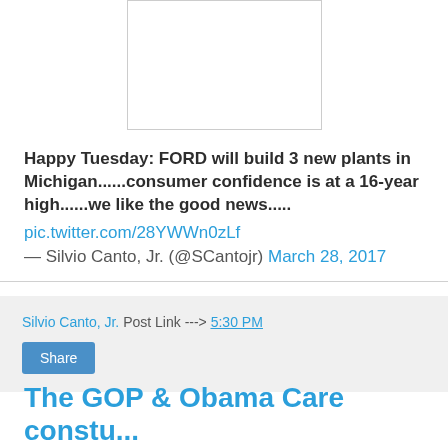[Figure (photo): Empty white image placeholder box with light gray border]
Happy Tuesday: FORD will build 3 new plants in Michigan......consumer confidence is at a 16-year high......we like the good news..... pic.twitter.com/28YWWn0zLf — Silvio Canto, Jr. (@SCantojr) March 28, 2017
Silvio Canto, Jr. Post Link ---> 5:30 PM
Share
The GOP & Obama Care constu...